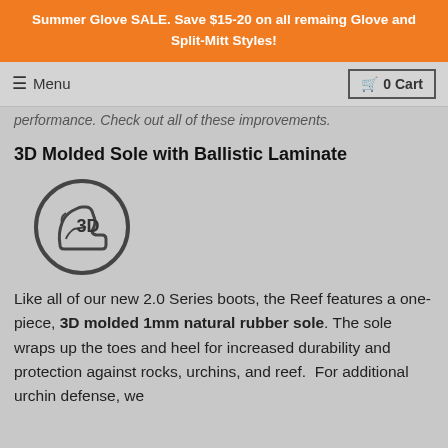Summer Glove SALE. Save $15-20 on all remaing Glove and Split-Mitt Styles!
Menu   0 Cart
performance. Check out all of these improvements.
3D Molded Sole with Ballistic Laminate
[Figure (illustration): Circular icon showing a boot sole with '3D' text inside]
Like all of our new 2.0 Series boots, the Reef features a one-piece, 3D molded 1mm natural rubber sole. The sole wraps up the toes and heel for increased durability and protection against rocks, urchins, and reef.  For additional urchin defense, we